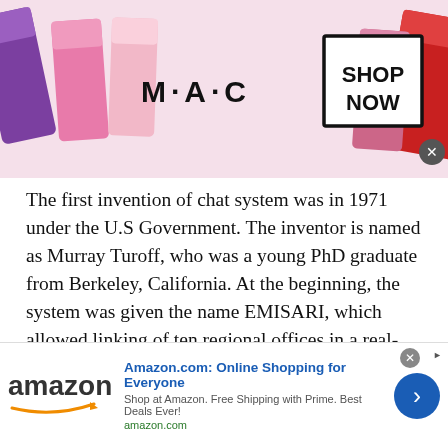[Figure (photo): MAC cosmetics advertisement banner showing colorful lipsticks on left and right, MAC logo in center, and a 'SHOP NOW' box with border on the right side. A close button (X) appears in bottom right of banner.]
The first invention of chat system was in 1971 under the U.S Government. The inventor is named as Murray Turoff, who was a young PhD graduate from Berkeley, California. At the beginning, the system was given the name EMISARI, which allowed linking of ten regional offices in a real-time online chat known as the 'partyline' that lasted till1986.
Initially, the public online chat system was named as Talkomatic, an invention of Doug Brown and David R. Wooley in 1973 on the Plato system at the University of
[Figure (screenshot): Amazon advertisement banner at bottom showing Amazon logo with smile, text 'Amazon.com: Online Shopping for Everyone', 'Shop at Amazon. Free Shipping with Prime. Best Deals Ever!', 'amazon.com', and a blue circular arrow button. Close button in top right.]